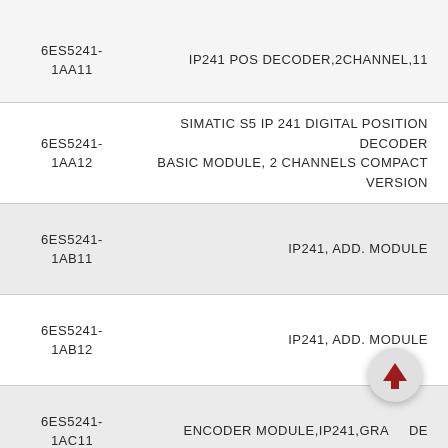| Part Number | Description |
| --- | --- |
| 6ES5241-1AA11 | IP241 POS DECODER,2CHANNEL,11 |
| 6ES5241-1AA12 | SIMATIC S5 IP 241 DIGITAL POSITION DECODER BASIC MODULE, 2 CHANNELS COMPACT VERSION |
| 6ES5241-1AB11 | IP241, ADD. MODULE |
| 6ES5241-1AB12 | IP241, ADD. MODULE |
| 6ES5241-1AC11 | ENCODER MODULE,IP241,GRA...DE |